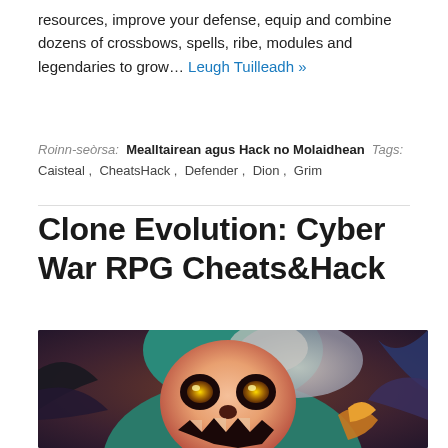resources, improve your defense, equip and combine dozens of crossbows, spells, ribe, modules and legendaries to grow… Leugh Tuilleadh »
Roinn-seòrsa: Mealltairean agus Hack no Molaidhean Tags: Caisteal , CheatsHack , Defender , Dion , Grim
Clone Evolution: Cyber War RPG Cheats&Hack
[Figure (illustration): Game artwork showing a fantasy character wearing a skull mask with glowing yellow eyes, set against a dark stylized background with colorful elements.]